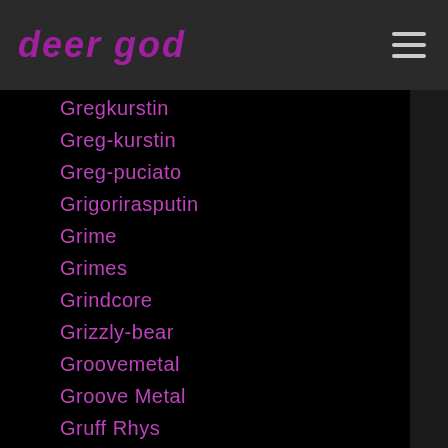deer god
Gregkurstin
Greg-kurstin
Greg-puciato
Grigorirasputin
Grime
Grimes
Grindcore
Grizzly-bear
Groovemetal
Groove Metal
Gruff Rhys
Guana-batz
Guatama-buddha
Guccimane
Gucci-mane
Guided-by-voices
Guitar-center